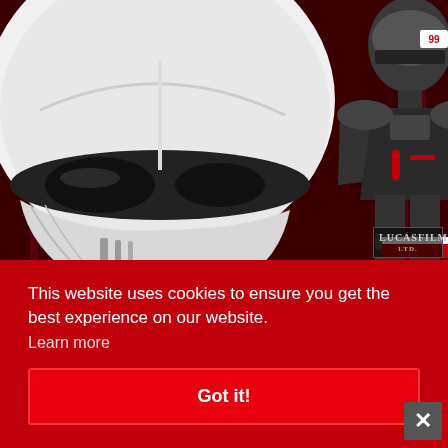[Figure (photo): Star Wars themed promotional image showing a large white First Order Stormtrooper helmet on the left and a dark armored action figure on the right against a dark red background]
Join the BATTLE for the GALAXY!
This website uses cookies to ensure you get the best experience on our website.
Learn more
Got it!